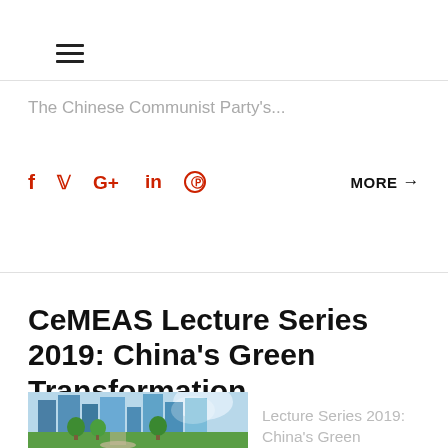[Figure (other): Hamburger menu icon (three horizontal lines)]
The Chinese Communist Party's...
[Figure (other): Social media icons: f (Facebook), bird (Twitter), G+ (Google Plus), in (LinkedIn), circle-p (Pinterest) in red, plus MORE arrow link on right]
CeMEAS Lecture Series 2019: China's Green Transformation
[Figure (photo): City skyline with modern glass skyscrapers and green park with trees and pathway in the foreground]
Lecture Series 2019: China's Green